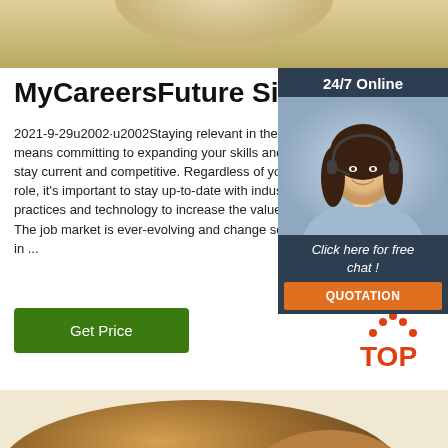[Figure (photo): Top portion of a wooden surface or plate, light wood texture, cropped at top]
MyCareersFuture Singapore
2021-9-29u2002·u2002Staying relevant in the job market means committing to expanding your skills and knowledge to stay current and competitive. Regardless of your role, it's important to stay up-to-date with industry best practices and technology to increase the value you bring. The job market is ever-evolving and change so rapidly in ...
[Figure (infographic): 24/7 Online chat widget with a woman wearing a headset, dark blue background, with 'Click here for free chat!' text and an orange QUOTATION button]
Get Price
[Figure (logo): TOP logo with orange dots arranged in a triangle/arc above the word TOP in orange]
[Figure (photo): Bottom portion showing food items, cropped, golden brown color]